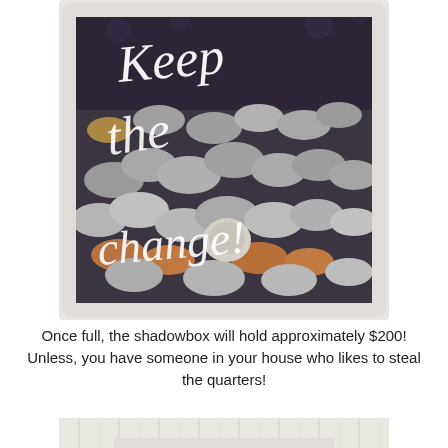[Figure (photo): A shadow box filled with coins (quarters, dimes, pennies, nickels) with white cursive text reading 'Keep the change!' on a dark background.]
Once full, the shadowbox will hold approximately $200! Unless, you have someone in your house who likes to steal the quarters!
[Figure (photo): Partial view of a white shadow box frame sitting on a surface with a light-colored beadboard background.]